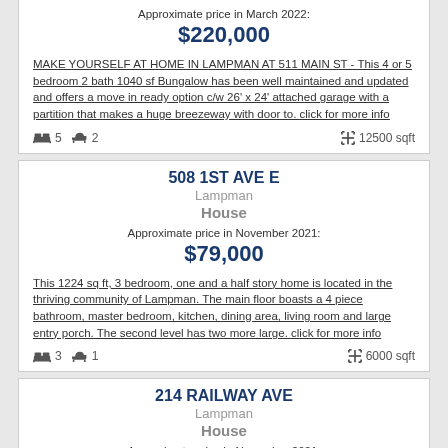Approximate price in March 2022:
$220,000
MAKE YOURSELF AT HOME IN LAMPMAN AT 511 MAIN ST - This 4 or 5 bedroom 2 bath 1040 sf Bungalow has been well maintained and updated and offers a move in ready option c/w 26' x 24' attached garage with a partition that makes a huge breezeway with door to. click for more info
5 bedrooms, 2 baths, 12500 sqft
508 1ST AVE E
Lampman
House
Approximate price in November 2021:
$79,000
This 1224 sq ft, 3 bedroom, one and a half story home is located in the thriving community of Lampman. The main floor boasts a 4 piece bathroom, master bedroom, kitchen, dining area, living room and large entry porch. The second level has two more large. click for more info
3 bedrooms, 1 bath, 6000 sqft
214 RAILWAY AVE
Lampman
House
Approximate price in November 2021: